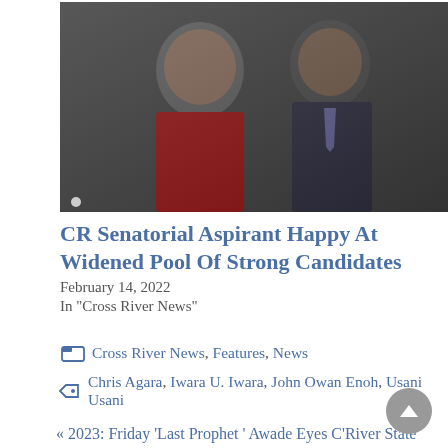[Figure (photo): Two men in business attire facing the camera, one in a red shirt and one in a dark suit with tie]
CR Senatorial Aspirant Happy At Widened Pool Of Strong Candidates
February 14, 2022
In "Cross River News"
Cross River News, Features, News
Chris Agara, Iwara U. Iwara, John Owan Enoh, Usani Usani
« 2023: Friday 'Last Prophet ' Awade Eyes C'River State House Of Assembly
ZONING: Group Warns Niger Gov Against Tampering With Presidential Directive Zoning APC Secretary Position To South-South »